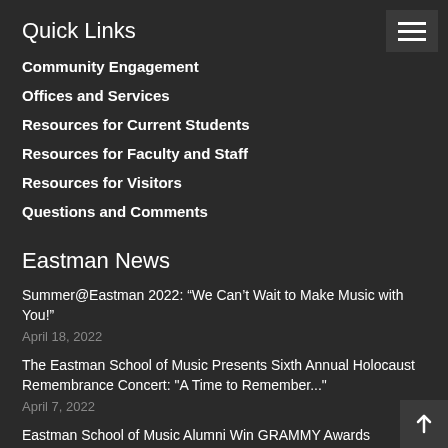Quick Links
Community Engagement
Offices and Services
Resources for Current Students
Resources for Faculty and Staff
Resources for Visitors
Questions and Comments
Eastman News
Summer@Eastman 2022: “We Can’t Wait to Make Music with You!”
April 18, 2022
The Eastman School of Music Presents Sixth Annual Holocaust Remembrance Concert: "A Time to Remember..."
April 7, 2022
Eastman School of Music Alumni Win GRAMMY Awards